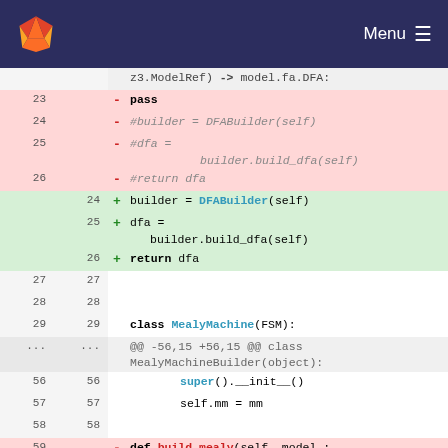GitLab Menu
[Figure (screenshot): GitLab code diff view showing Python source code changes. Lines 23-26 are deleted (red background) showing commented-out code: pass, #builder = DFABuilder(self), #dfa = builder.build_dfa(self), #return dfa. Lines 24-26 are added (green background) with: builder = DFABuilder(self), dfa = builder.build_dfa(self), return dfa. Context lines 27-29 show class MealyMachine(FSM):. A hunk header shows @@ -56,15 +56,15 @@ class MealyMachineBuilder(object):. Lines 56-58 show super().__init__(), self.mm = mm, blank. Line 59 deleted shows def build_mealy(self, model : z3.ModelRef) ->]
z3.ModelRef) -> model.fa.DFA: